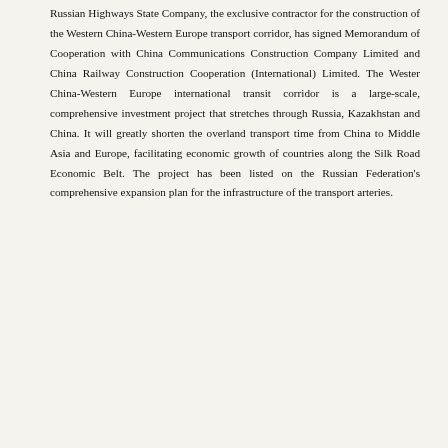Russian Highways State Company, the exclusive contractor for the construction of the Western China-Western Europe transport corridor, has signed Memorandum of Cooperation with China Communications Construction Company Limited and China Railway Construction Cooperation (International) Limited. The Wester China-Western Europe international transit corridor is a large-scale, comprehensive investment project that stretches through Russia, Kazakhstan and China. It will greatly shorten the overland transport time from China to Middle Asia and Europe, facilitating economic growth of countries along the Silk Road Economic Belt. The project has been listed on the Russian Federation's comprehensive expansion plan for the infrastructure of the transport arteries.